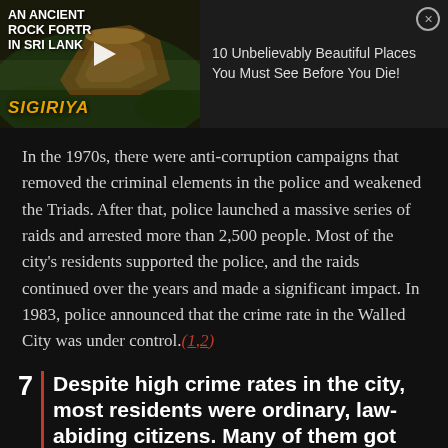[Figure (screenshot): Video thumbnail ad for '10 Unbelievably Beautiful Places You Must See Before You Die!' showing an ancient rock fortress in Sri Lanka (Sigiriya) with play button overlay and close button]
In the 1970s, there were anti-corruption campaigns that removed the criminal elements in the police and weakened the Triads. After that, police launched a massive series of raids and arrested more than 2,500 people. Most of the city's residents supported the police, and the raids continued over the years and made a significant impact. In 1983, police announced that the crime rate in the Walled City was under control.(1,2)
7 | Despite high crime rates in the city, most residents were ordinary, law-abiding citizens. Many of them got